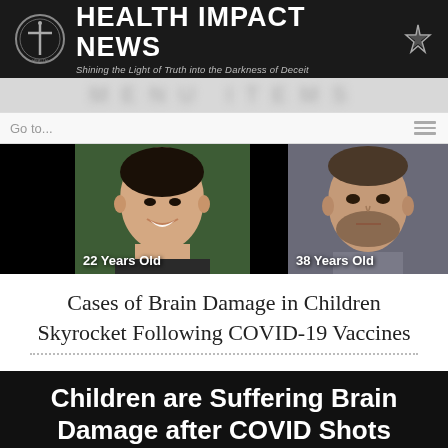HEALTH IMPACT NEWS — Shining the Light of Truth into the Darkness of Deceit
[Figure (photo): Two men side by side labeled '22 Years Old' and '38 Years Old' against a black background]
Cases of Brain Damage in Children Skyrocket Following COVID-19 Vaccines
[Figure (photo): Black banner reading 'Children are Suffering Brain Damage after COVID Shots' with three photos below each labeled 'DEAD']